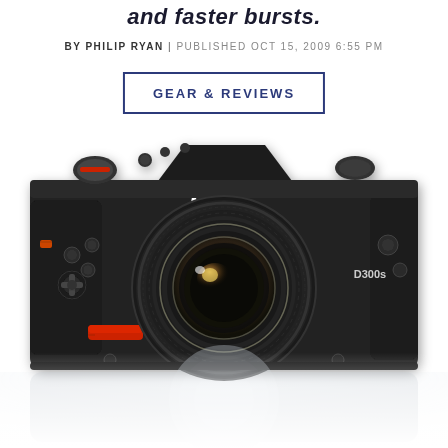and faster bursts.
BY PHILIP RYAN | PUBLISHED OCT 15, 2009 6:55 PM
GEAR & REVIEWS
[Figure (photo): Nikon D300s DSLR camera with lens, front-facing view, with reflection below on a light surface]